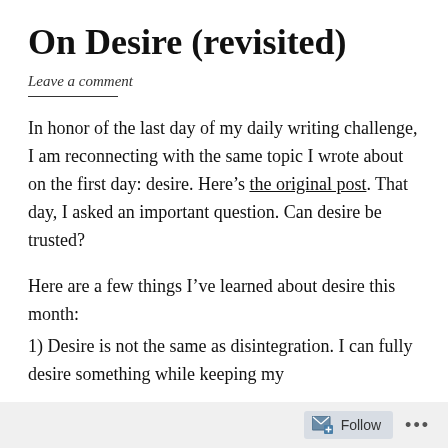On Desire (revisited)
Leave a comment
In honor of the last day of my daily writing challenge, I am reconnecting with the same topic I wrote about on the first day: desire. Here’s the original post. That day, I asked an important question. Can desire be trusted?
Here are a few things I’ve learned about desire this month:
1) Desire is not the same as disintegration. I can fully desire something while keeping my
Follow ...